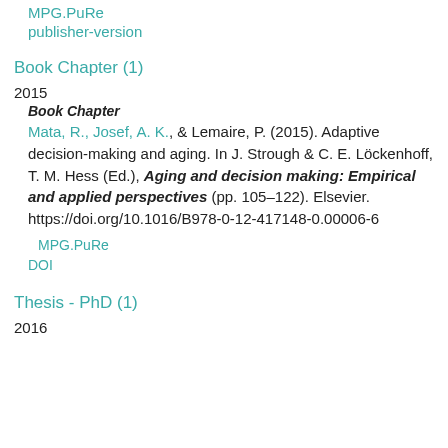MPG.PuRe
publisher-version
Book Chapter (1)
2015
Book Chapter
Mata, R., Josef, A. K., & Lemaire, P. (2015). Adaptive decision-making and aging. In J. Strough & C. E. Löckenhoff, T. M. Hess (Ed.), Aging and decision making: Empirical and applied perspectives (pp. 105–122). Elsevier. https://doi.org/10.1016/B978-0-12-417148-0.00006-6
MPG.PuRe
DOI
Thesis - PhD (1)
2016